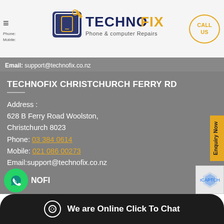[Figure (logo): TechnoFix Phone & Computer Repairs logo with wrench icon and navy/gold text]
Email: support@technofix.co.nz
TECHNOFIX CHRISTCHURCH FERRY RD
Address :
628 B Ferry Road Woolston,
Christchurch 8023
Phone: 03 384 0614
Mobile: 021 086 00273
Email:support@technofix.co.nz
We are Online Click To Chat